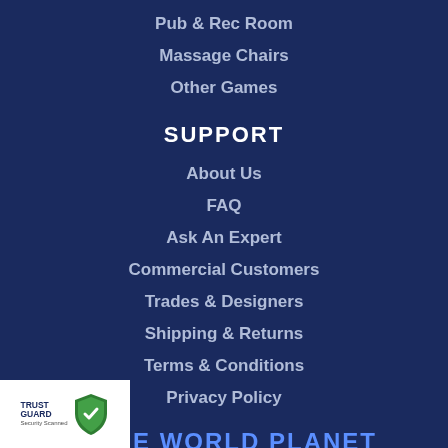Pub & Rec Room
Massage Chairs
Other Games
SUPPORT
About Us
FAQ
Ask An Expert
Commercial Customers
Trades & Designers
Shipping & Returns
Terms & Conditions
Privacy Policy
GAME WORLD PLANET
The largest selection of Foosball Tables, Hockey Tables, Pong Tables, Shuffleboards, Billiards Tables,
[Figure (logo): TrustGuard Security Scanned badge with shield logo]